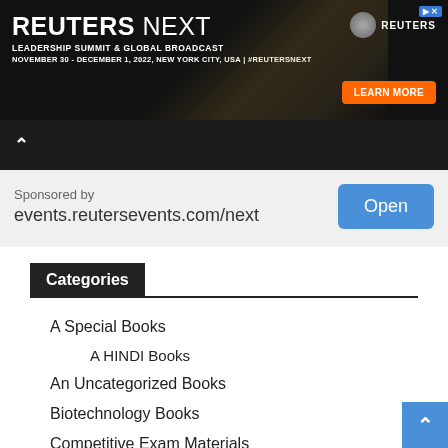[Figure (screenshot): Reuters Next Leadership Summit & Global Broadcast advertisement banner. Dark background with Reuters Next logo, subtitle 'LEADERSHIP SUMMIT & GLOBAL BROADCAST', date 'NOVEMBER 30 - DECEMBER 1, 2022, NEW YORK CITY, USA | #REUTERSNEXT', Reuters logo, and orange 'LEARN MORE' button.]
Sponsored by
events.reutersevents.com/next
Categories
A Special Books
A HINDI Books
An Uncategorized Books
Biotechnology Books
Competitive Exam Materials
Exam Materials in English
Exam Materials in Hindi